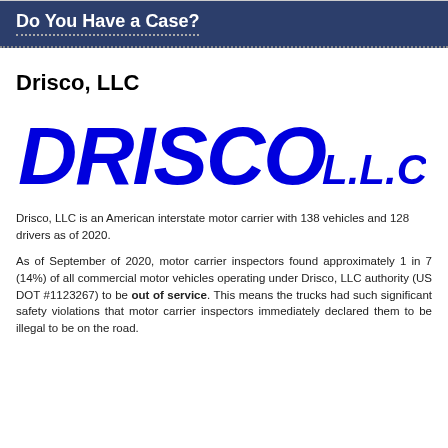Do You Have a Case?
Drisco, LLC
[Figure (logo): Drisco L.L.C. company logo in blue italic stylized text]
Drisco, LLC is an American interstate motor carrier with 138 vehicles and 128 drivers as of 2020.
As of September of 2020, motor carrier inspectors found approximately 1 in 7 (14%) of all commercial motor vehicles operating under Drisco, LLC authority (US DOT #1123267) to be out of service. This means the trucks had such significant safety violations that motor carrier inspectors immediately declared them to be illegal to be on the road.